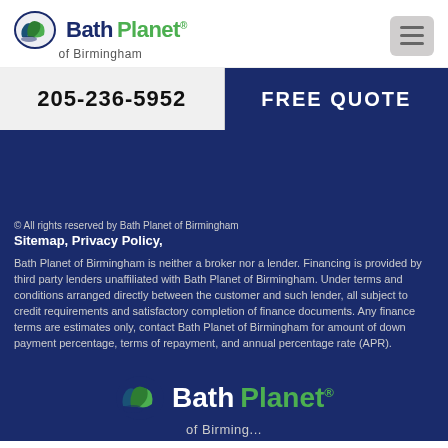[Figure (logo): Bath Planet of Birmingham logo with oval green leaf icon, dark blue 'Bath' text, green 'Planet' text, and 'of Birmingham' subtitle]
[Figure (other): Hamburger menu icon (three horizontal lines) on a gray rounded rectangle button]
205-236-5952
FREE QUOTE
© All rights reserved by Bath Planet of Birmingham
Sitemap, Privacy Policy,
Bath Planet of Birmingham is neither a broker nor a lender. Financing is provided by third party lenders unaffiliated with Bath Planet of Birmingham. Under terms and conditions arranged directly between the customer and such lender, all subject to credit requirements and satisfactory completion of finance documents. Any finance terms are estimates only, contact Bath Planet of Birmingham for amount of down payment percentage, terms of repayment, and annual percentage rate (APR).
[Figure (logo): Bath Planet of Birmingham footer logo with green oval leaf icon, white 'Bath' text, green 'Planet' text, and partial 'of Birmingham' subtitle]